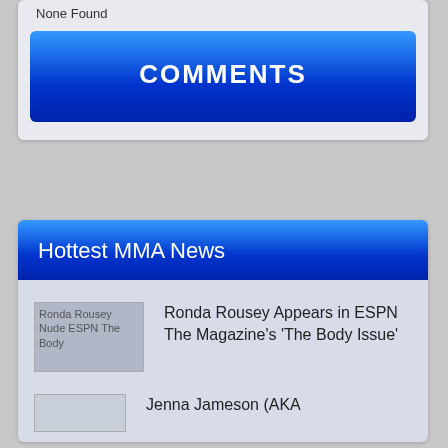None Found
COMMENTS
Hottest MMA News
[Figure (photo): Ronda Rousey Nude ESPN The Body image placeholder]
Ronda Rousey Appears in ESPN The Magazine's 'The Body Issue'
[Figure (photo): Second news item image placeholder]
Jenna Jameson (AKA